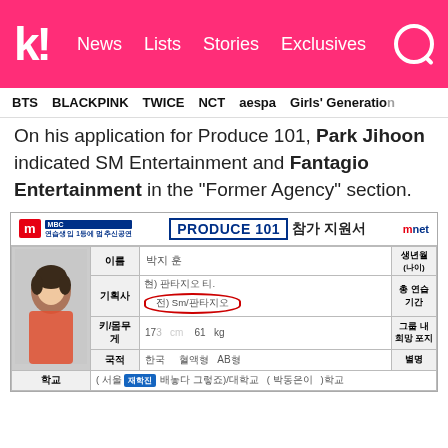k! News  Lists  Stories  Exclusives
BTS  BLACKPINK  TWICE  NCT  aespa  Girls' Generation
On his application for Produce 101, Park Jihoon indicated SM Entertainment and Fantagio Entertainment in the “Former Agency” section.
[Figure (photo): Scanned Produce 101 application form for Park Jihoon showing handwritten Korean fields. The 'Former Agency' field is circled in red, showing 'SM/Fantagio' written in Korean. The applicant photo shows a young man in a red hoodie.]